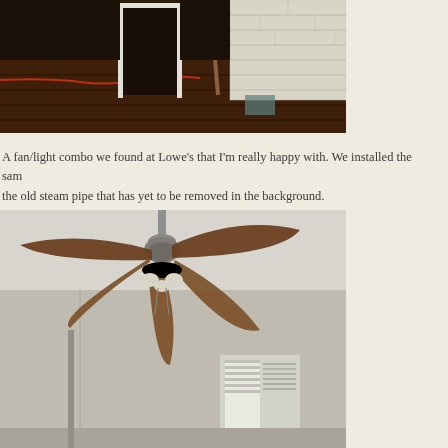[Figure (photo): Interior room under renovation with dark hardwood floors being refinished, white doorframe in background, tools and materials scattered on floor, white brick wall visible on right side]
A fan/light combo we found at Lowe's that I'm really happy with. We installed the same the old steam pipe that has yet to be removed in the background.
[Figure (photo): Ceiling fan with five dark wood blades and brushed nickel finish installed in a room with white ceiling, white walls, and windows with blinds visible in background]